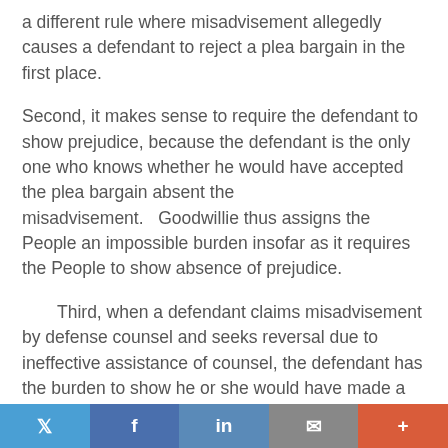a different rule where misadvisement allegedly causes a defendant to reject a plea bargain in the first place.
Second, it makes sense to require the defendant to show prejudice, because the defendant is the only one who knows whether he would have accepted the plea bargain absent the misadvisement.   Goodwillie thus assigns the People an impossible burden insofar as it requires the People to show absence of prejudice.
Third, when a defendant claims misadvisement by defense counsel and seeks reversal due to ineffective assistance of counsel, the defendant has the burden to show he or she would have made a different decision had defense counsel advised properly.   (In re Alvernaz, supra, 2 Cal.4th 924, 936-937, 8 Cal.Rptr.2d 713, 830 P.2d 747 [to establish a claim of ineffective assistance of counsel in the context of a